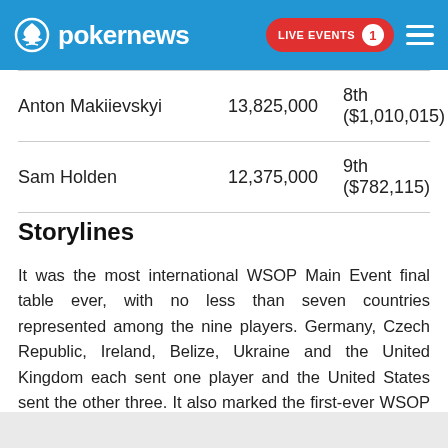pokernews | LIVE EVENTS 1
| Name | Chips | Place |
| --- | --- | --- |
| Anton Makiievskyi | 13,825,000 | 8th ($1,010,015) |
| Sam Holden | 12,375,000 | 9th ($782,115) |
Storylines
It was the most international WSOP Main Event final table ever, with no less than seven countries represented among the nine players. Germany, Czech Republic, Ireland, Belize, Ukraine and the United Kingdom each sent one player and the United States sent the other three. It also marked the first-ever WSOP Main Event final tables for Ukraine (Anton Makiievskyi), Czech Republic (Martin Staszko) and Belarus (Bob Bounahra).